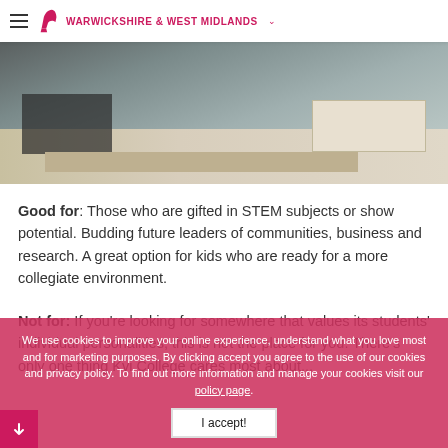WARWICKSHIRE & WEST MIDLANDS
[Figure (photo): A classroom or laboratory setting showing workbenches/desks with a person in a dark jacket standing near equipment.]
Good for: Those who are gifted in STEM subjects or show potential. Budding future leaders of communities, business and research. A great option for kids who are ready for a more collegiate environment.
Not for: If you're looking for somewhere that values its students' individual personalities, this is not the place for you. There's only one thing Kvi College cares most about...
Dare to disagree? Don't take our word for it. Check out the Sixth Form Virtual Information Day on 29 March.
We use cookies to improve your online experience, understand what you love most and for marketing purposes. By clicking accept you agree to the use of our cookies and privacy policy. To find out more information and manage your cookies visit our policy page.